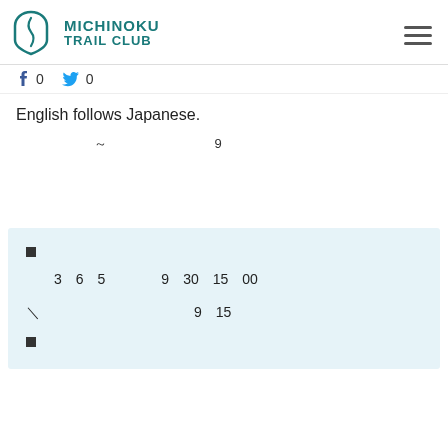MICHINOKU TRAIL CLUB
f 0   🐦 0
English follows Japanese.
□□□□□□□〜□□□□□□□□□ 9 □□□□□□□□□□□□□□□
□ □□□□□□□□□□□□□□□□□□□□
□□□□□□□□□□□□□□□
■□□
□□3□6□5□□□□9□30□15□00
※□□□□□□□□□□□9□15□□□□
■□□□□